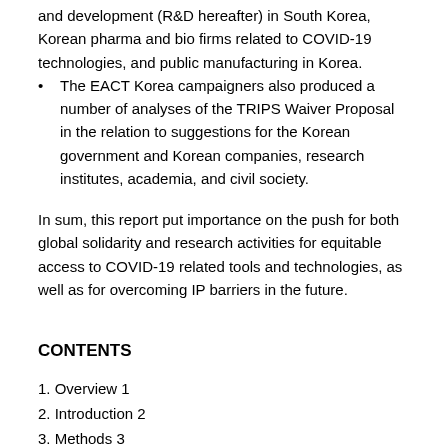and development (R&D hereafter) in South Korea, Korean pharma and bio firms related to COVID-19 technologies, and public manufacturing in Korea.
The EACT Korea campaigners also produced a number of analyses of the TRIPS Waiver Proposal in the relation to suggestions for the Korean government and Korean companies, research institutes, academia, and civil society.
In sum, this report put importance on the push for both global solidarity and research activities for equitable access to COVID-19 related tools and technologies, as well as for overcoming IP barriers in the future.
CONTENTS
1. Overview 1
2. Introduction 2
3. Methods 3
4. Situational campaigns for EACT 4
1. Stage 1: Continuing IP & A2M actions in South Korea (July